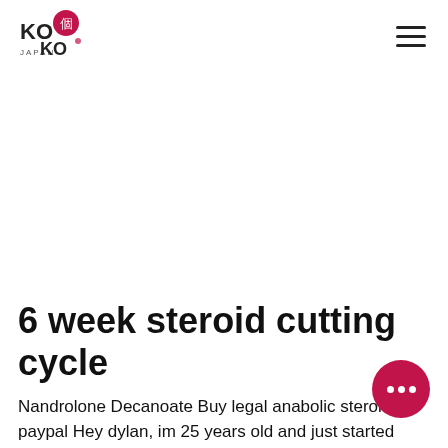KOKO JAPAN — navigation header with logo and hamburger menu
6 week steroid cutting cycle
Nandrolone Decanoate Buy legal anabolic steroid paypal Hey dylan, im 25 years old and just started a 6 week cycle of anav only at 50mgs edm i have taken it for a weeks and i have gained over 200lbs! can i